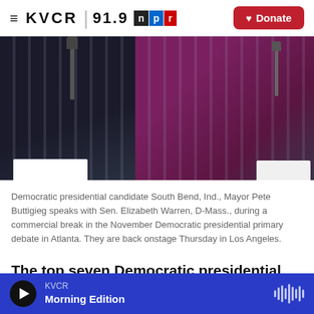KVCR 91.9 NPR | Donate
[Figure (photo): Two people at debate podiums with microphones — one in a dark suit on the left, one in a purple blazer on the right, with a blue backdrop]
Democratic presidential candidate South Bend, Ind., Mayor Pete Buttigieg speaks with Sen. Elizabeth Warren, D-Mass., during a commercial break in the November Democratic presidential primary debate in Atlanta. They are back onstage Thursday in Los Angeles.
The top seven Democratic presidential candidates will appear on stage in Los Angeles Thursday night in the sixth debate of the year.
KVCR Morning Edition